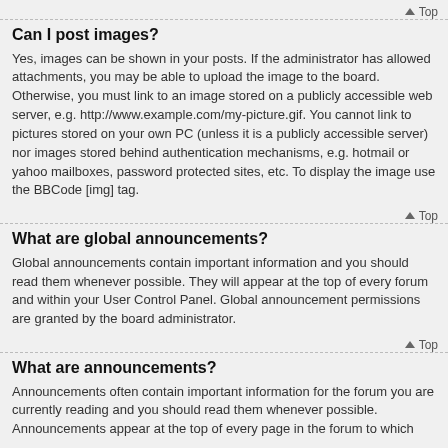Top
Can I post images?
Yes, images can be shown in your posts. If the administrator has allowed attachments, you may be able to upload the image to the board. Otherwise, you must link to an image stored on a publicly accessible web server, e.g. http://www.example.com/my-picture.gif. You cannot link to pictures stored on your own PC (unless it is a publicly accessible server) nor images stored behind authentication mechanisms, e.g. hotmail or yahoo mailboxes, password protected sites, etc. To display the image use the BBCode [img] tag.
Top
What are global announcements?
Global announcements contain important information and you should read them whenever possible. They will appear at the top of every forum and within your User Control Panel. Global announcement permissions are granted by the board administrator.
Top
What are announcements?
Announcements often contain important information for the forum you are currently reading and you should read them whenever possible. Announcements appear at the top of every page in the forum to which